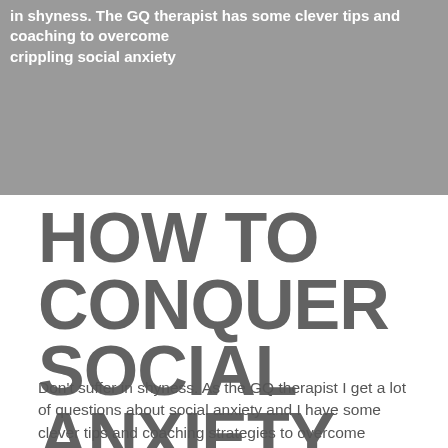in shyness. The GQ therapist has some clever tips and coaching to overcome crippling social anxiety
HOW TO CONQUER SOCIAL ANXIETY
Don't suffer in shyness. As the GQ therapist I get a lot of questions about social anxiety and I have some clever tips and coaching strategies to overcome crippling social anxiety. Read my answer to this reader's social anxiety dilema.